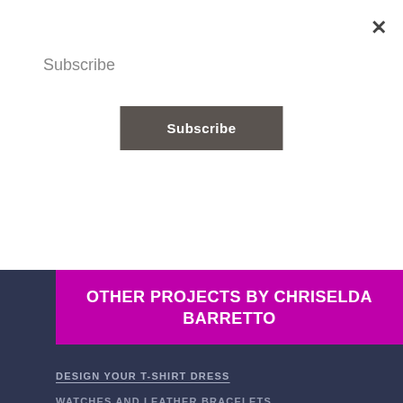Subscribe
Subscribe
OTHER PROJECTS BY CHRISELDA BARRETTO
DESIGN YOUR T-SHIRT DRESS
CARD DECKS BY CHRISELDA B
THE SILVER COLLECTION
THE GOLD COLLECTION
WATCHES AND LEATHER BRACELETS